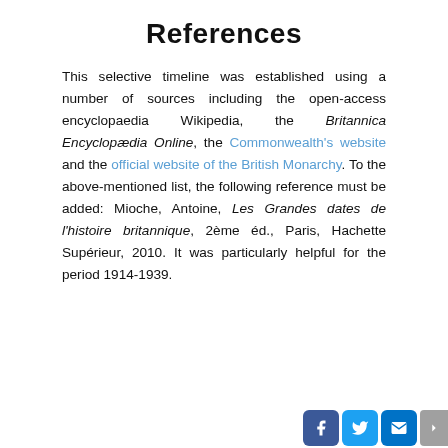References
This selective timeline was established using a number of sources including the open-access encyclopaedia Wikipedia, the Britannica Encyclopædia Online, the Commonwealth's website and the official website of the British Monarchy. To the above-mentioned list, the following reference must be added: Mioche, Antoine, Les Grandes dates de l'histoire britannique, 2ème éd., Paris, Hachette Supérieur, 2010. It was particularly helpful for the period 1914-1939.